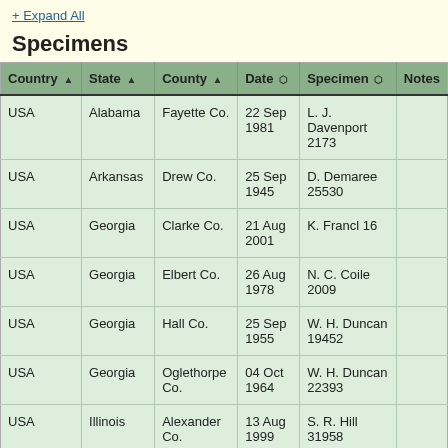+ Expand All
Specimens
| Country | State | County | Date | Specimen | Notes |
| --- | --- | --- | --- | --- | --- |
| USA | Alabama | Fayette Co. | 22 Sep 1981 | L. J. Davenport 2173 |  |
| USA | Arkansas | Drew Co. | 25 Sep 1945 | D. Demaree 25530 |  |
| USA | Georgia | Clarke Co. | 21 Aug 2001 | K. Francl 16 |  |
| USA | Georgia | Elbert Co. | 26 Aug 1978 | N. C. Coile 2009 |  |
| USA | Georgia | Hall Co. | 25 Sep 1955 | W. H. Duncan 19452 |  |
| USA | Georgia | Oglethorpe Co. | 04 Oct 1964 | W. H. Duncan 22393 |  |
| USA | Illinois | Alexander Co. | 13 Aug 1999 | S. R. Hill 31958 |  |
| USA | Illinois | Lawrence Co. | 16 May 2012 | S. R. Hill 38866 |  |